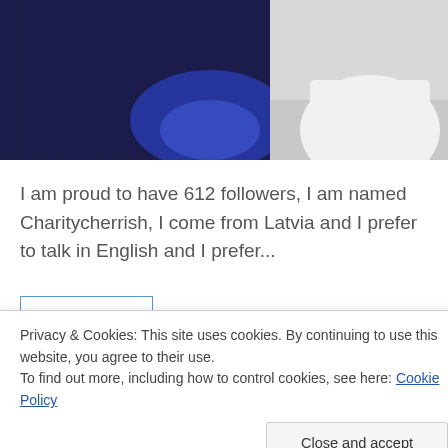[Figure (photo): Partial screenshot of a webcam streaming site showing a person in a white top against a dark blue background with glowing blue light effects]
I am proud to have 612 followers, I am named Charitycherrish, I come from Latvia and I prefer to talk in English and I prefer...
WATCH
Boy Online Show | Freechat With
Privacy & Cookies: This site uses cookies. By continuing to use this website, you agree to their use.
To find out more, including how to control cookies, see here: Cookie Policy
Close and accept
[Figure (photo): Partial view of a person at the bottom of the page]